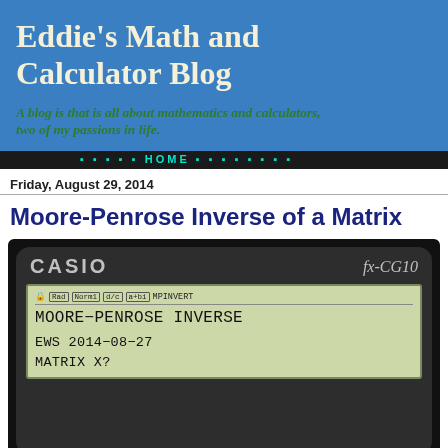Eddie's Math and Calculator Blog
A blog is that is all about mathematics and calculators, two of my passions in life.
Friday, August 29, 2014
Moore-Penrose Inverse of a Matrix
[Figure (photo): Photo of a Casio fx-CG10 calculator displaying 'MOORE-PENROSE INVERSE' program screen with text: EWS 2014-08-27, MATRIX X?]